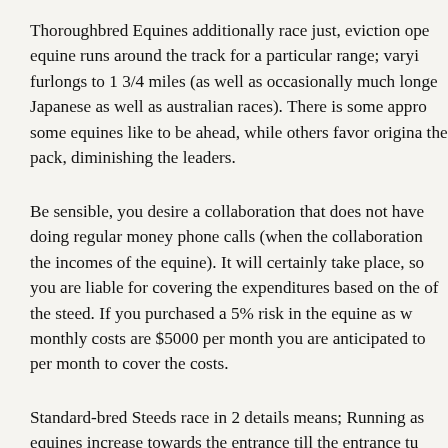Thoroughbred Equines additionally race just, eviction ope equine runs around the track for a particular range; varyi furlongs to 1 3/4 miles (as well as occasionally much longe Japanese as well as australian races). There is some appro some equines like to be ahead, while others favor origina the pack, diminishing the leaders.
Be sensible, you desire a collaboration that does not have doing regular money phone calls (when the collaboration the incomes of the equine). It will certainly take place, so you are liable for covering the expenditures based on the of the steed. If you purchased a 5% risk in the equine as w monthly costs are $5000 per month you are anticipated to per month to cover the costs.
Standard-bred Steeds race in 2 details means; Running as equines increase towards the entrance till the entrance tu steeds. The vehicle increases out of the equines course as